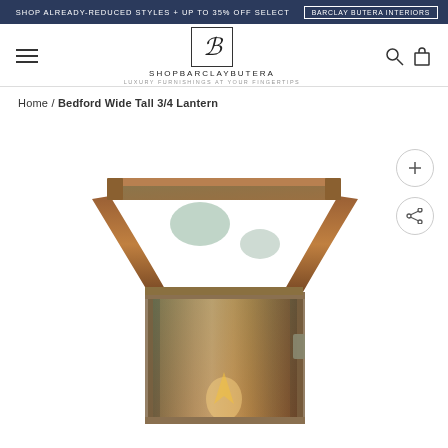SHOP ALREADY-REDUCED STYLES + UP TO 35% OFF SELECT | BARCLAY BUTERA INTERIORS
[Figure (logo): ShopBarclayButera logo with stylized B monogram in bordered box, text SHOPBARCLAYBUTERA and tagline LUXURY FURNISHINGS AT YOUR FINGERTIPS]
Home / Bedford Wide Tall 3/4 Lantern
[Figure (photo): Close-up product photo of a copper Bedford Wide Tall 3/4 Lantern with pagoda-style curved top, glass panels, and aged verdigris patina finish]